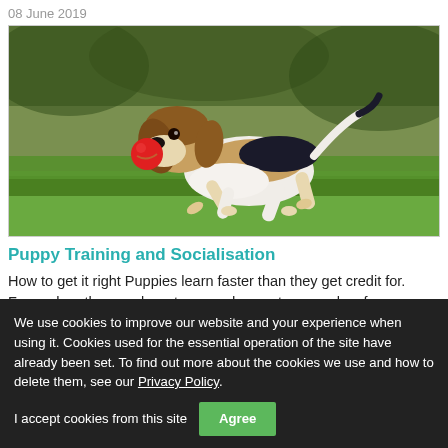08 June 2019
[Figure (photo): A beagle puppy running on green grass holding a red ball in its mouth]
Puppy Training and Socialisation
How to get it right Puppies learn faster than they get credit for. From when they are born to around seventeen weeks of age, a puppy's ability to socialise and soak up new information is at its peak and very critical in shaping how they
We use cookies to improve our website and your experience when using it. Cookies used for the essential operation of the site have already been set. To find out more about the cookies we use and how to delete them, see our Privacy Policy.

I accept cookies from this site  [Agree]